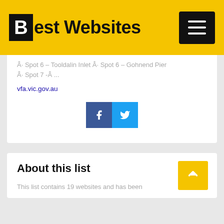Best Websites
Â· Spot 6 – Tooldalin Inlet Â· Spot 6 – Gohnend Pier Â· Spot 7 -Â ...
vfa.vic.gov.au
[Figure (other): Facebook and Twitter social share buttons]
About this list
This list contains 19 websites and has been